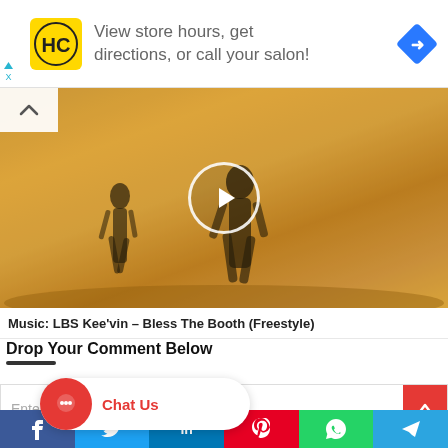[Figure (other): Advertisement banner: HC logo (yellow background), text 'View store hours, get directions, or call your salon!', blue diamond arrow icon on right. Small play/close controls on left edge.]
[Figure (other): Video thumbnail showing two silhouette figures walking in a golden field with sunlight, with a circular play button overlay. Collapse/up arrow button in top-left corner.]
Music: LBS Kee'vin – Bless The Booth (Freestyle)
Drop Your Comment Below
Enter your comment here...
[Figure (other): Chat Us button with red circular chat icon and 'Chat Us' label in red text]